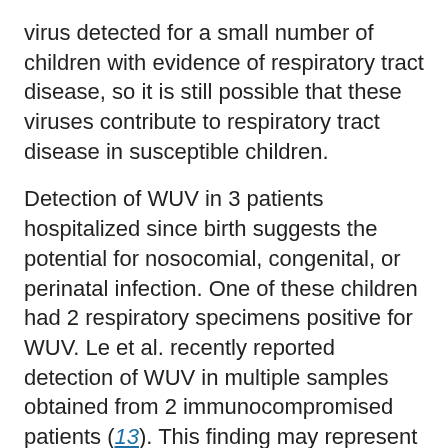virus detected for a small number of children with evidence of respiratory tract disease, so it is still possible that these viruses contribute to respiratory tract disease in susceptible children.
Detection of WUV in 3 patients hospitalized since birth suggests the potential for nosocomial, congenital, or perinatal infection. One of these children had 2 respiratory specimens positive for WUV. Le et al. recently reported detection of WUV in multiple samples obtained from 2 immunocompromised patients (13). This finding may represent persistent or latent infection.
In conclusion, we have established that 2 recently discovered polyomaviruses, KIV and WUV, are circulating in Connecticut. Because of the high rates of viral co-infection and detection of WUV in both